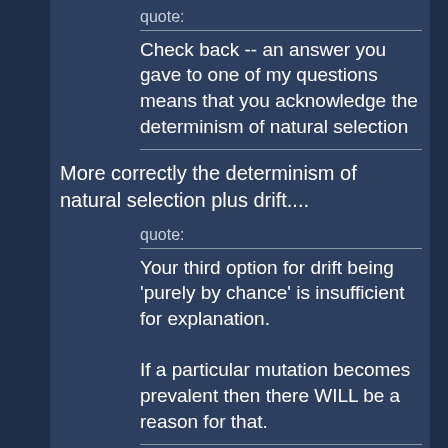quote:
Check back -- an answer you gave to one of my questions means that you acknowledge the determinism of natural selection
More correctly the determinism of natural selection plus drift....
quote:
Your third option for drift being 'purely by chance' is insufficient for explanation.

If a particular mutation becomes prevalent then there WILL be a reason for that.
Essentially the reason is the statistical inevitability that SOME neutral mutations will eventually achieve fixation, while most